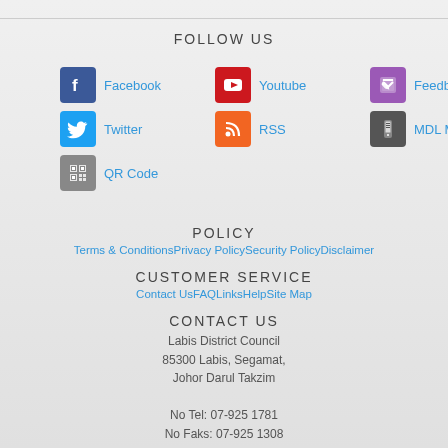FOLLOW US
Facebook
Youtube
Feedback
Twitter
RSS
MDL Mobile
QR Code
POLICY
Terms & ConditionsPrivacy PolicySecurity PolicyDisclaimer
CUSTOMER SERVICE
Contact UsFAQLinksHelpSite Map
CONTACT US
Labis District Council
85300 Labis, Segamat,
Johor Darul Takzim

No Tel: 07-925 1781
No Faks: 07-925 1308